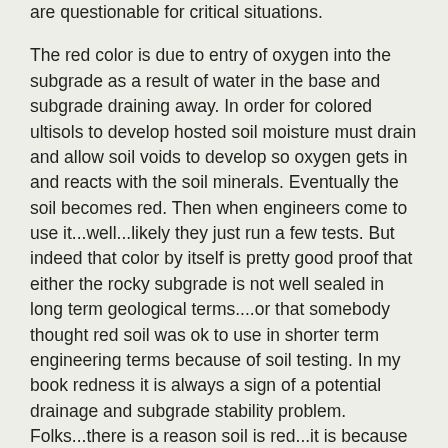are questionable for critical situations.

The red color is due to entry of oxygen into the subgrade as a result of water in the base and subgrade draining away. In order for colored ultisols to develop hosted soil moisture must drain and allow soil voids to develop so oxygen gets in and reacts with the soil minerals. Eventually the soil becomes red. Then when engineers come to use it...well...likely they just run a few tests. But indeed that color by itself is pretty good proof that either the rocky subgrade is not well sealed in long term geological terms....or that somebody thought red soil was ok to use in shorter term engineering terms because of soil testing. In my book redness it is always a sign of a potential drainage and subgrade stability problem. Folks...there is a reason soil is red...it is because it is “rotten”..and water drained from or still drains through it. If water drains and voids fill with air there is a good chance fines will have been piped